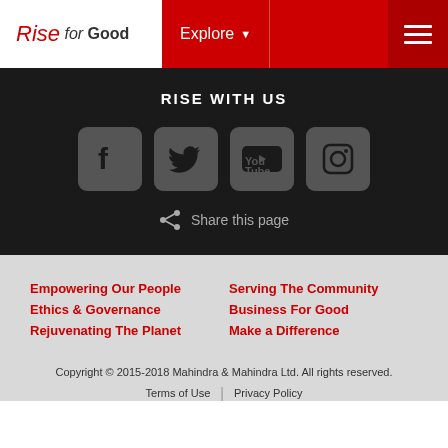Rise for Good | Explore
RISE WITH US
[Figure (illustration): Four social media icons: Facebook, Twitter, YouTube, Instagram]
Share this page
Empowering Our People
Ethics & Governance
Rejuvenating The Planet
Serving The Community
Business For Good
Make a Difference
Copyright © 2015-2018 Mahindra & Mahindra Ltd. All rights reserved. Terms of Use | Privacy Policy